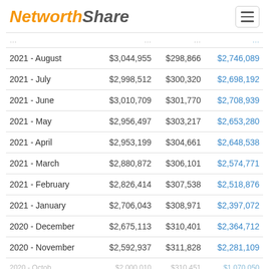NetworthShare
| Period | Assets | Liabilities | Net Worth |
| --- | --- | --- | --- |
| 2021 - August | $3,044,955 | $298,866 | $2,746,089 |
| 2021 - July | $2,998,512 | $300,320 | $2,698,192 |
| 2021 - June | $3,010,709 | $301,770 | $2,708,939 |
| 2021 - May | $2,956,497 | $303,217 | $2,653,280 |
| 2021 - April | $2,953,199 | $304,661 | $2,648,538 |
| 2021 - March | $2,880,872 | $306,101 | $2,574,771 |
| 2021 - February | $2,826,414 | $307,538 | $2,518,876 |
| 2021 - January | $2,706,043 | $308,971 | $2,397,072 |
| 2020 - December | $2,675,113 | $310,401 | $2,364,712 |
| 2020 - November | $2,592,937 | $311,828 | $2,281,109 |
| 2020 - October | $2,000,010 | $310,451 | $1,070,050 |